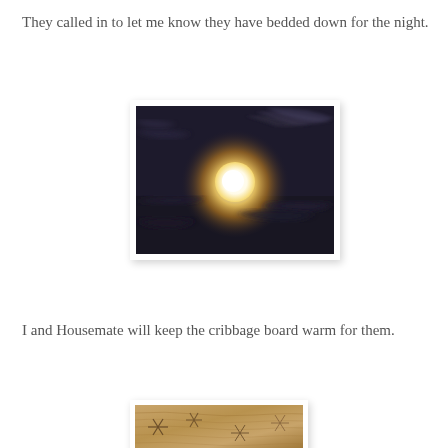They called in to let me know they have bedded down for the night.
[Figure (photo): Night sky photograph showing a bright full moon surrounded by a warm golden glow, with dark clouds visible against a very dark navy/charcoal sky.]
I and Housemate will keep the cribbage board warm for them.
[Figure (photo): Partial view of what appears to be a cribbage board with a wooden surface showing grain patterns.]